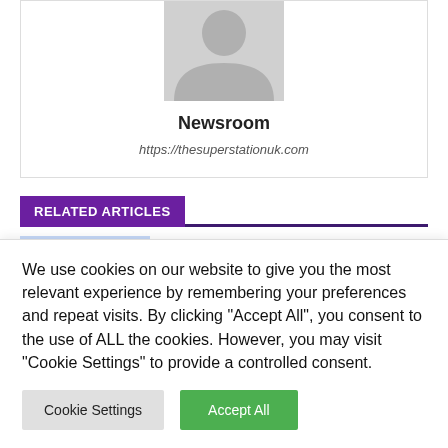[Figure (illustration): Grey silhouette avatar placeholder image, partially cropped at top]
Newsroom
https://thesuperstationuk.com
RELATED ARTICLES
[Figure (screenshot): Partial article preview strip with blue placeholder image and truncated article title text]
We use cookies on our website to give you the most relevant experience by remembering your preferences and repeat visits. By clicking "Accept All", you consent to the use of ALL the cookies. However, you may visit "Cookie Settings" to provide a controlled consent.
Cookie Settings | Accept All